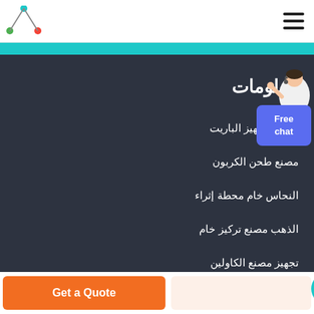[Figure (logo): Network/molecule logo with teal, green, and orange dots connected by lines]
[Figure (illustration): Hamburger menu icon (three horizontal lines)]
[Figure (illustration): Teal horizontal accent bar]
معلومات
مصنع لتجهيز الباريت
مصنع طحن الكربون
النحاس خام محطة إثراء
الذهب مصنع تركيز خام
تجهيز مصنع الكاولين
[Figure (illustration): Customer support person with Free chat button]
[Figure (illustration): Get a Quote orange button]
[Figure (illustration): WhatsApp button area with scroll-to-top teal circle arrow]